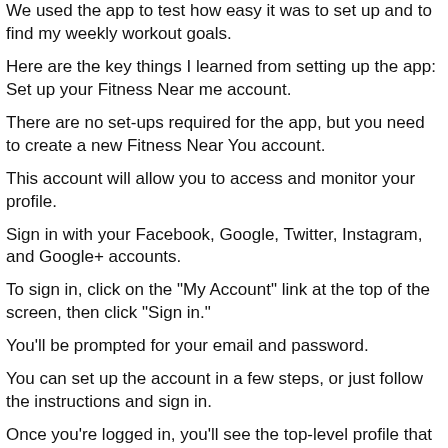We used the app to test how easy it was to set up and to find my weekly workout goals.
Here are the key things I learned from setting up the app: Set up your Fitness Near me account.
There are no set-ups required for the app, but you need to create a new Fitness Near You account.
This account will allow you to access and monitor your profile.
Sign in with your Facebook, Google, Twitter, Instagram, and Google+ accounts.
To sign in, click on the "My Account" link at the top of the screen, then click "Sign in."
You'll be prompted for your email and password.
You can set up the account in a few steps, or just follow the instructions and sign in.
Once you're logged in, you'll see the top-level profile that you can see at any time.